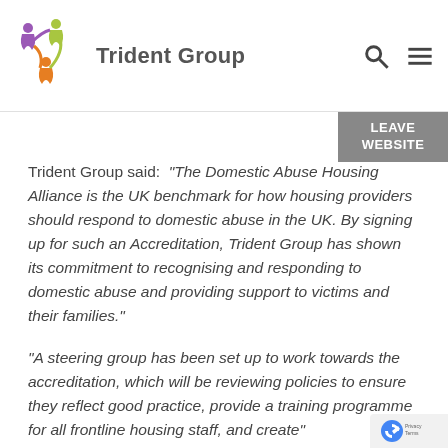Trident Group
Trident Group said: "The Domestic Abuse Housing Alliance is the UK benchmark for how housing providers should respond to domestic abuse in the UK. By signing up for such an Accreditation, Trident Group has shown its commitment to recognising and responding to domestic abuse and providing support to victims and their families."
"A steering group has been set up to work towards the accreditation, which will be reviewing policies to ensure they reflect good practice, provide a training programme for all frontline housing staff, and create"